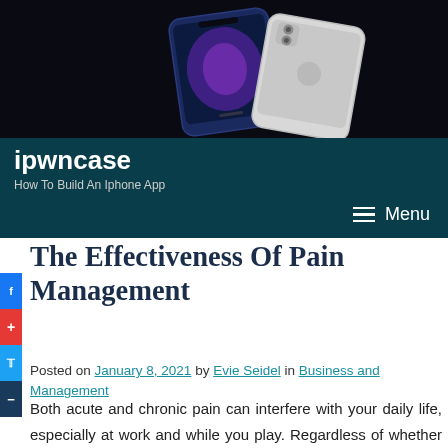[Figure (photo): Website header banner showing two iPhones (one dark blue, one white/silver) on a black background]
ipwncase
How To Build An Iphone App
The Effectiveness Of Pain Management
Posted on January 8, 2021 by Evie Seidel in Business and Management
Both acute and chronic pain can interfere with your daily life, especially at work and while you play. Regardless of whether a specific cause of pain is still